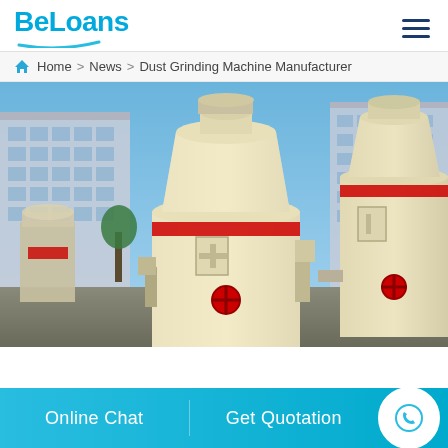BeLoans
Home > News > Dust Grinding Machine Manufacturer
[Figure (photo): Industrial dust grinding machines (Raymond mills) in cream/off-white color with red valve fittings and red accent bands, displayed outdoors in an industrial yard with buildings in the background]
Online Chat   Get Quotation